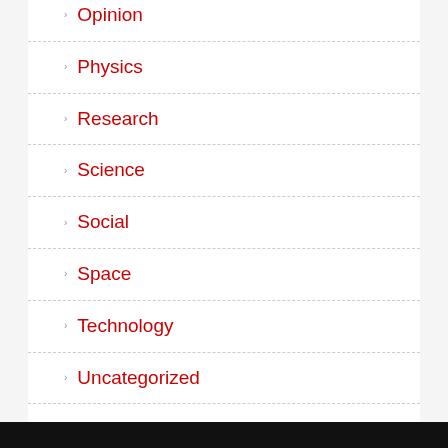Opinion
Physics
Research
Science
Social
Space
Technology
Uncategorized
Universe